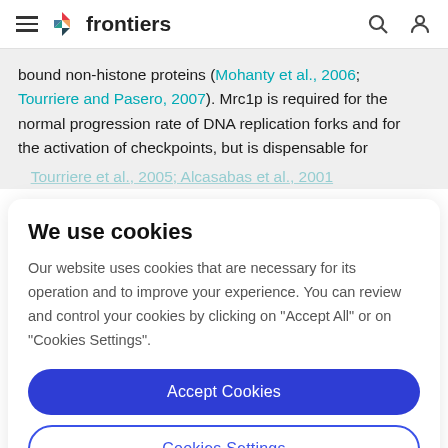frontiers
bound non-histone proteins (Mohanty et al., 2006; Tourriere and Pasero, 2007). Mrc1p is required for the normal progression rate of DNA replication forks and for the activation of checkpoints, but is dispensable for
We use cookies
Our website uses cookies that are necessary for its operation and to improve your experience. You can review and control your cookies by clicking on "Accept All" or on "Cookies Settings".
Accept Cookies
Cookies Settings